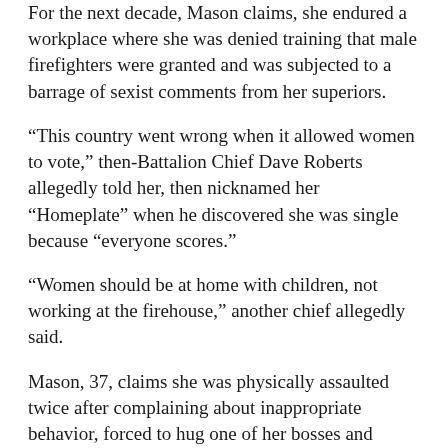For the next decade, Mason claims, she endured a workplace where she was denied training that male firefighters were granted and was subjected to a barrage of sexist comments from her superiors.
“This country went wrong when it allowed women to vote,” then-Battalion Chief Dave Roberts allegedly told her, then nicknamed her “Homeplate” when he discovered she was single because “everyone scores.”
“Women should be at home with children, not working at the firehouse,” another chief allegedly said.
Mason, 37, claims she was physically assaulted twice after complaining about inappropriate behavior, forced to hug one of her bosses and threatened by another with a knife, who allegedly said, “I’ll cut your tits off.”
Now, Mason’s complaints have spawned a federal sex discrimination and harassment lawsuit, as well as an